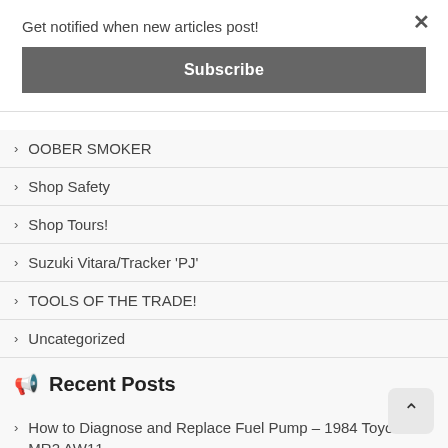Get notified when new articles post!
Subscribe
OOBER SMOKER
Shop Safety
Shop Tours!
Suzuki Vitara/Tracker 'PJ'
TOOLS OF THE TRADE!
Uncategorized
Recent Posts
How to Diagnose and Replace Fuel Pump – 1984 Toyota MR2 AW11
Progress Report 19 – 30×48' Pole Barn build
Ford Expedition Custom Rear Toolbox